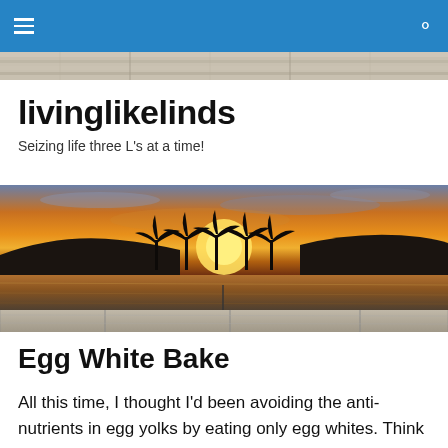livinglikelinds — navigation bar with hamburger menu and search icon
[Figure (photo): Gray weathered wood plank texture strip at top of page below nav bar]
livinglikelinds
Seizing life three L's at a time!
[Figure (photo): Panoramic sunset photo over a lake with silhouetted palm trees and mountains, warm orange and golden sky. Below is a gray weathered wood fence/dock texture.]
Egg White Bake
All this time, I thought I'd been avoiding the anti-nutrients in egg yolks by eating only egg whites. Think about that for a second…what protects the yolk? Egg whites; they have